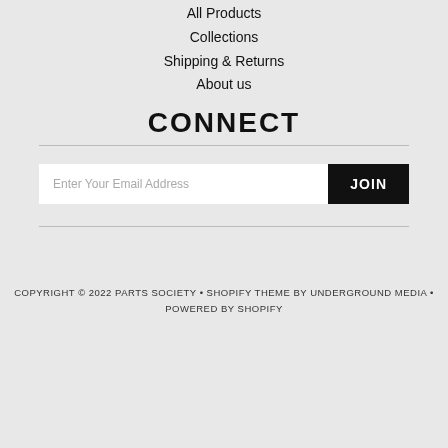All Products
Collections
Shipping & Returns
About us
CONNECT
Enter Your Email Address
JOIN
[Figure (illustration): Social media icons: Facebook, Instagram, Twitter, YouTube]
COPYRIGHT © 2022 PARTS SOCIETY • SHOPIFY THEME BY UNDERGROUND MEDIA • POWERED BY SHOPIFY